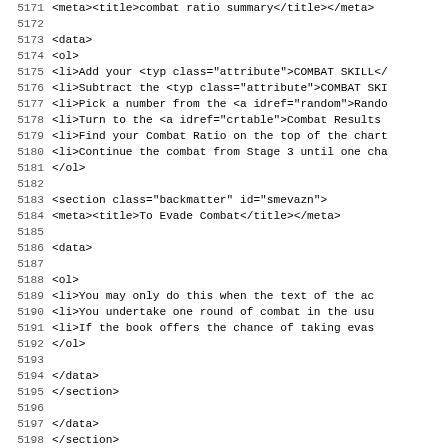Source code listing, lines 5171-5203, XML/markup content
5171: <meta><title>combat ratio summary</title></meta>
5172: (blank)
5173:     <data>
5174:      <ol>
5175:        <li>Add your <typ class="attribute">COMBAT SKILL</
5176:        <li>Subtract the <typ class="attribute">COMBAT SKI
5177:        <li>Pick a number from the <a idref="random">Rando
5178:        <li>Turn to the <a idref="crtable">Combat Results
5179:        <li>Find your Combat Ratio on the top of the chart
5180:        <li>Continue the combat from Stage 3 until one cha
5181:      </ol>
5182: (blank)
5183:     <section class="backmatter" id="smevazn">
5184:      <meta><title>To Evade Combat</title></meta>
5185: (blank)
5186:      <data>
5187: (blank)
5188:        <ol>
5189:          <li>You may only do this when the text of the ac
5190:          <li>You undertake one round of combat in the usu
5191:          <li>If the book offers the chance of taking evas
5192:        </ol>
5193: (blank)
5194:      </data>
5195:    </section>
5196: (blank)
5197:    </data>
5198:  </section>
5199: (blank)
5200:  <section class="backmatter" id="crtable">
5201:   <meta><title>Combat Results Table</title></meta>
5202: (blank)
5203:    <data>